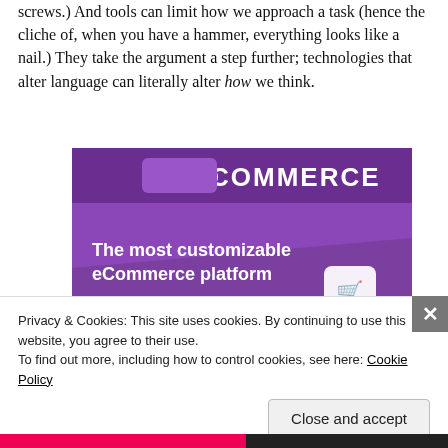screws.) And tools can limit how we approach a task (hence the cliche of, when you have a hammer, everything looks like a nail.) They take the argument a step further; technologies that alter language can literally alter how we think.
[Figure (screenshot): WooCommerce advertisement banner showing purple background with 'WOO COMMERCE' logo at top, text 'The most customizable eCommerce platform', a shopping cart icon, and partial UI elements including 'Start a new store' button at bottom.]
Privacy & Cookies: This site uses cookies. By continuing to use this website, you agree to their use.
To find out more, including how to control cookies, see here: Cookie Policy
Close and accept